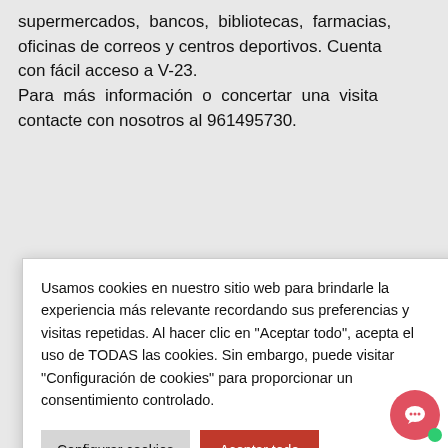supermercados, bancos, bibliotecas, farmacias, oficinas de correos y centros deportivos. Cuenta con fácil acceso a V-23.
Para más información o concertar una visita contacte con nosotros al 961495730.
Usamos cookies en nuestro sitio web para brindarle la experiencia más relevante recordando sus preferencias y visitas repetidas. Al hacer clic en "Aceptar todo", acepta el uso de TODAS las cookies. Sin embargo, puede visitar "Configuración de cookies" para proporcionar un consentimiento controlado.
Configurar cookies
Aceptar todo
Rechazar
Spanish
ELCHE
adosadas
València
– Sagunt